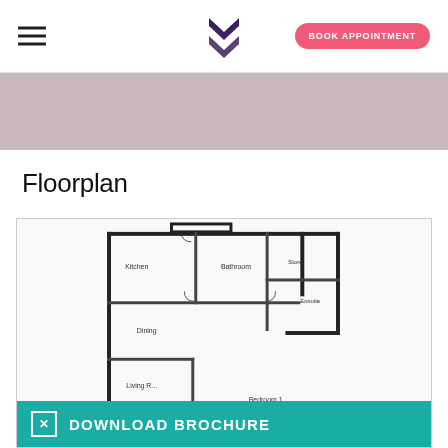[Figure (logo): M chevron logo in dark purple]
BOOK APPOINTMENT
[Figure (other): Pink/mauve banner area]
Floorplan
[Figure (engineering-diagram): Apartment floorplan showing Kitchen, Bathroom, Store, Ensuite, Dining, Living Room, Bedroom 1]
DOWNLOAD BROCHURE